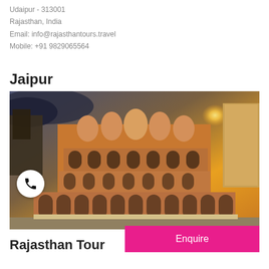Udaipur - 313001
Rajasthan, India
Email: info@rajasthantours.travel
Mobile: +91 9829065564
Jaipur
[Figure (photo): Photo of Hawa Mahal palace in Jaipur at sunset with golden sky and ornate pink sandstone facade with multiple tiers of arched windows and balconies]
Enquire
Rajasthan Tour